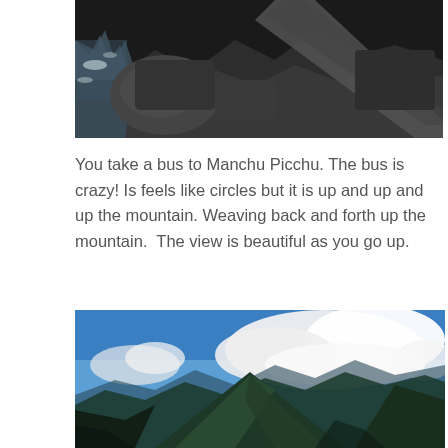[Figure (photo): Dark photo of rocky terrain with rushing water and a narrow path or bridge, viewed from above]
You take a bus to Manchu Picchu. The bus is crazy! Is feels like circles but it is up and up and up the mountain. Weaving back and forth up the mountain.  The view is beautiful as you go up.
[Figure (photo): Mountain landscape photo showing dramatic green mountain peaks with a blue sky and large white clouds above, viewed from a high vantage point near Machu Picchu]